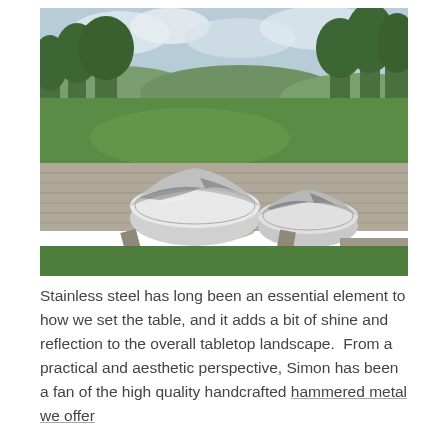[Figure (photo): Two shiny stainless steel bowls sitting on a weathered wooden picnic table outdoors, with a green lawn and trees in the background under a cloudy sky.]
Stainless steel has long been an essential element to how we set the table, and it adds a bit of shine and reflection to the overall tabletop landscape.  From a practical and aesthetic perspective, Simon has been a fan of the high quality handcrafted hammered metal we offer.